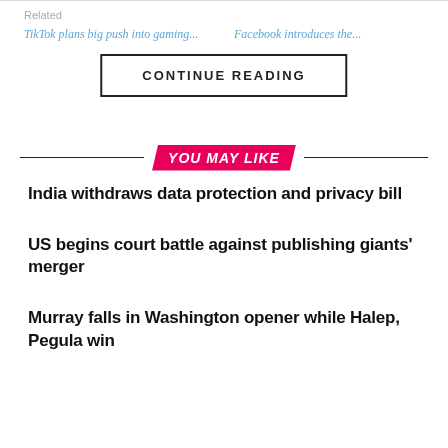Related
TikTok plans big push into gaming...
Facebook introduces the...
CONTINUE READING
YOU MAY LIKE
India withdraws data protection and privacy bill
US begins court battle against publishing giants' merger
Murray falls in Washington opener while Halep, Pegula win